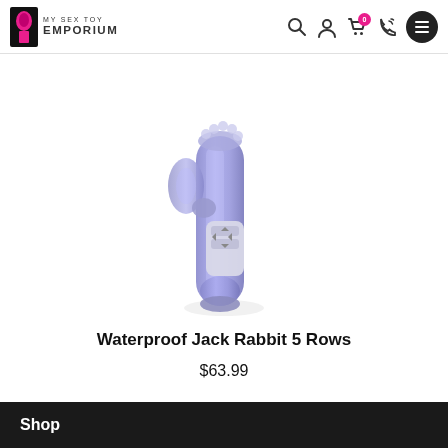MY SEX TOY EMPORIUM
[Figure (photo): Product photo of a purple translucent Waterproof Jack Rabbit 5 Rows vibrator with beads and a control panel, shown on white background]
Waterproof Jack Rabbit 5 Rows
$63.99
Shop